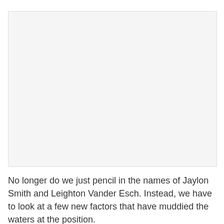[Figure (photo): Large image placeholder area occupying the upper portion of the page]
No longer do we just pencil in the names of Jaylon Smith and Leighton Vander Esch. Instead, we have to look at a few new factors that have muddied the waters at the position.